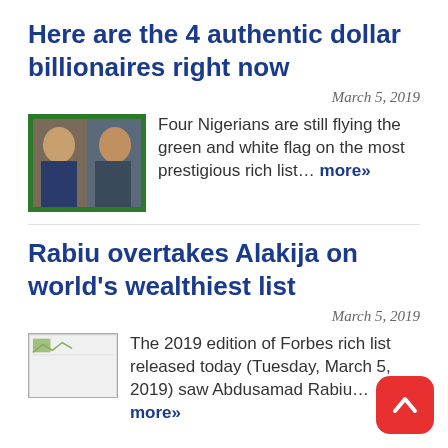Here are the 4 authentic dollar billionaires right now
March 5, 2019
[Figure (photo): Two Nigerian men in a side-by-side portrait photo with green border]
Four Nigerians are still flying the green and white flag on the most prestigious rich list… more»
Rabiu overtakes Alakija on world's wealthiest list
March 5, 2019
[Figure (photo): Small placeholder image thumbnail]
The 2019 edition of Forbes rich list released today (Tuesday, March 5, 2019) saw Abdusamad Rabiu… more»